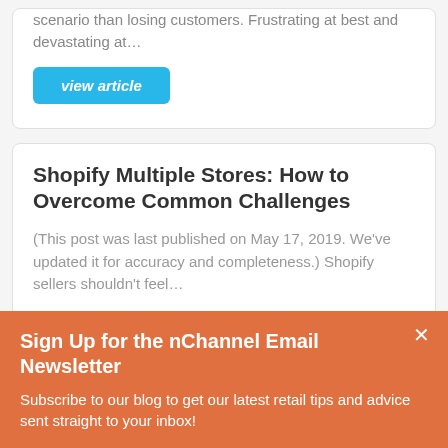scenario than losing customers. Frustrating at best and devastating at…
view article
Shopify Multiple Stores: How to Overcome Common Challenges
(This post was last published on May 17, 2019. We've updated it for accuracy and completeness.) Shopify sellers shouldn't feel…
view article
Sign Up for the nChannel Email Newsletter
Subscribe to our blog to get our latest retail tips and advice sent straight to your inbox!